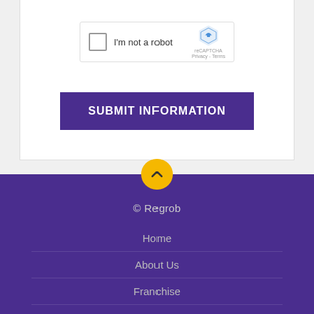[Figure (screenshot): reCAPTCHA widget with checkbox labeled 'I'm not a robot' and reCAPTCHA logo with Privacy and Terms links]
SUBMIT INFORMATION
[Figure (other): Yellow circular scroll-to-top button with upward chevron arrow]
© Regrob
Home
About Us
Franchise
Blog
Builders